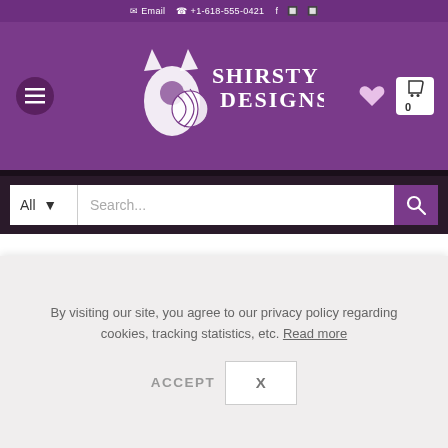Email  +1-618-555-0421
[Figure (logo): Shirsty Cat Designs logo with cat and yarn ball illustration on purple background, with hamburger menu, heart icon, and cart (0) icons]
[Figure (screenshot): Search bar with All dropdown, search text input, and search button on dark background]
[Figure (screenshot): Quantity selector (- 1 +) and Add to Cart button in mauve/purple color]
Gift this product
By visiting our site, you agree to our privacy policy regarding cookies, tracking statistics, etc. Read more
ACCEPT    X